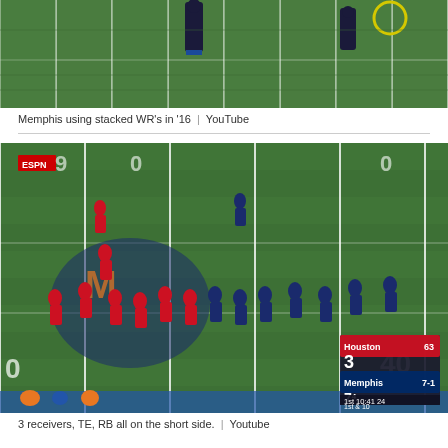[Figure (screenshot): Aerial view of a football field showing Memphis using stacked wide receivers in 2016 formation, players visible on green turf with yard lines]
Memphis using stacked WR's in '16  |  YouTube
[Figure (screenshot): ESPN broadcast screenshot of Memphis vs Houston football game showing 3 receivers, TE, RB all on the short side of the field. Score shows Houston 3, Memphis 7, 1st quarter 10:41, 1st & 10]
3 receivers, TE, RB all on the short side.  |  Youtube